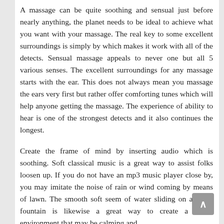A massage can be quite soothing and sensual just before nearly anything, the planet needs to be ideal to achieve what you want with your massage. The real key to some excellent surroundings is simply by which makes it work with all of the detects. Sensual massage appeals to never one but all 5 various senses. The excellent surroundings for any massage starts with the ear. This does not always mean you massage the ears very first but rather offer comforting tunes which will help anyone getting the massage. The experience of ability to hear is one of the strongest detects and it also continues the longest.
Create the frame of mind by inserting audio which is soothing. Soft classical music is a great way to assist folks loosen up. If you do not have an mp3 music player close by, you may imitate the noise of rain or wind coming by means of lawn. The smooth soft seem of water sliding on a water fountain is likewise a great way to create a sound environment that may be calming and